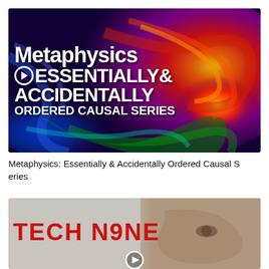[Figure (illustration): Thumbnail image with colorful swirling background (blues, reds, oranges, greens) with bold white text reading 'Metaphysics ESSENTIALLY & ACCIDENTALLY ORDERED CAUSAL SERIES' and a play button icon]
Metaphysics: Essentially & Accidentally Ordered Causal Series
[Figure (photo): Thumbnail image showing a man's face on the right side with bold red text 'TECH N9NE' in the center, and a play button icon at the bottom center]